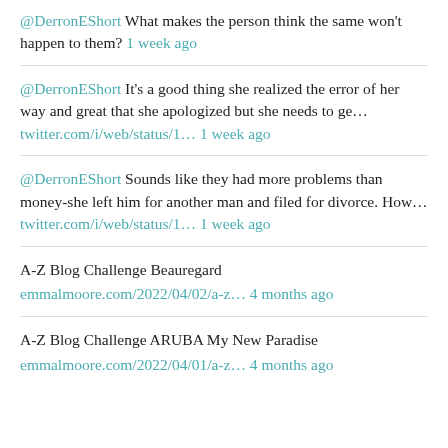@DerronEShort What makes the person think the same won't happen to them? 1 week ago
@DerronEShort It's a good thing she realized the error of her way and great that she apologized but she needs to ge… twitter.com/i/web/status/1… 1 week ago
@DerronEShort Sounds like they had more problems than money-she left him for another man and filed for divorce. How… twitter.com/i/web/status/1… 1 week ago
A-Z Blog Challenge Beauregard emmalmoore.com/2022/04/02/a-z… 4 months ago
A-Z Blog Challenge ARUBA My New Paradise emmalmoore.com/2022/04/01/a-z… 4 months ago